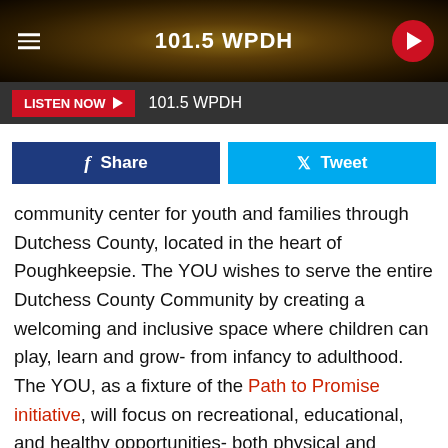101.5 WPDH
LISTEN NOW  101.5 WPDH
[Figure (other): Facebook Share button and Twitter Tweet button row]
community center for youth and families through Dutchess County, located in the heart of Poughkeepsie. The YOU wishes to serve the entire Dutchess County Community by creating a welcoming and inclusive space where children can play, learn and grow- from infancy to adulthood. The YOU, as a fixture of the Path to Promise initiative, will focus on recreational, educational, and healthy opportunities- both physical and mental- to ensure that young people have the assets they need to achieve their full potential.